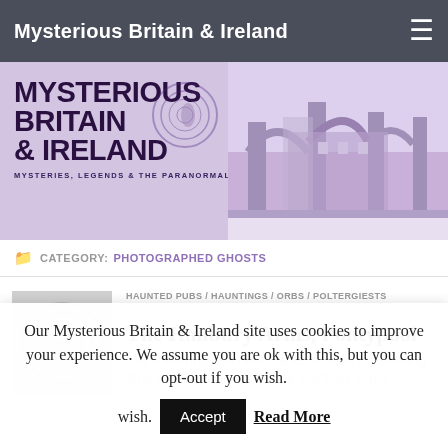Mysterious Britain & Ireland
[Figure (logo): Mysterious Britain & Ireland banner with logo text and a purple-tinted photo of a stone arch bridge and building in winter]
CATEGORY: PHOTOGRAPHED GHOSTS
HAUNTED PUBS / HAUNTINGS / ORBS / POLTERGIESTS
DECEMBER 13, 2012
The Hanbury Arms, Pontypool
The following two newspaper reports concerning strange experiences at The Hanbury Arms
Our Mysterious Britain & Ireland site uses cookies to improve your experience. We assume you are ok with this, but you can opt-out if you wish.